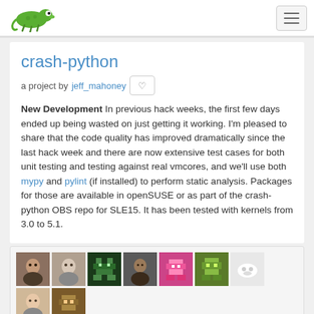openSUSE navigation bar with logo and hamburger menu
crash-python
a project by jeff_mahoney
New Development In previous hack weeks, the first few days ended up being wasted on just getting it working. I'm pleased to share that the code quality has improved dramatically since the last hack week and there are now extensive test cases for both unit testing and testing against real vmcores, and we'll use both mypy and pylint (if installed) to perform static analysis. Packages for those are available in openSUSE or as part of the crash-python OBS repo for SLE15. It has been tested with kernels from 3.0 to 5.1.
[Figure (photo): Grid of 11 user avatar images showing project contributors]